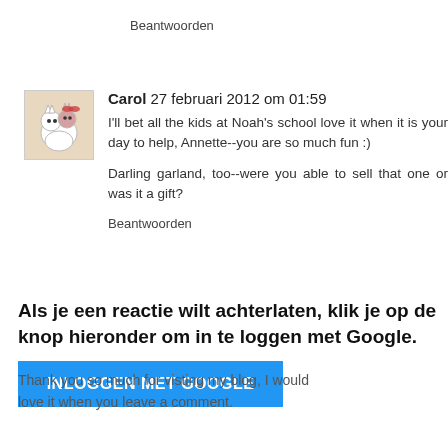Beantwoorden
Carol 27 februari 2012 om 01:59
I'll bet all the kids at Noah's school love it when it is your day to help, Annette--you are so much fun :)

Darling garland, too--were you able to sell that one or was it a gift?

Beantwoorden
Als je een reactie wilt achterlaten, klik je op de knop hieronder om in te loggen met Google.
INLOGGEN MET GOOGLE
Thank you so much for visting my blog, I would love it when you leave a comment.